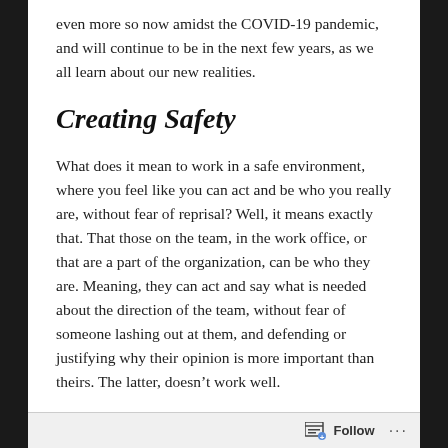even more so now amidst the COVID-19 pandemic, and will continue to be in the next few years, as we all learn about our new realities.
Creating Safety
What does it mean to work in a safe environment, where you feel like you can act and be who you really are, without fear of reprisal? Well, it means exactly that. That those on the team, in the work office, or that are a part of the organization, can be who they are. Meaning, they can act and say what is needed about the direction of the team, without fear of someone lashing out at them, and defending or justifying why their opinion is more important than theirs. The latter, doesn’t work well.
What works well? Creating an environment where
Follow ...